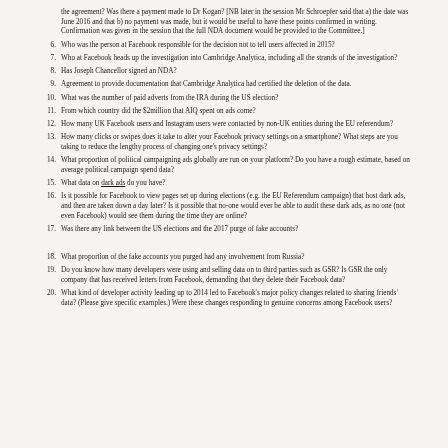the agreement? Was there a payment made to Dr Kogan? [NB later in the session Mr Schroepfer said that a) the date was June 2016 and that b) no payment was made, but it would be useful to have these points confirmed in writing. Confirmation was given in the session that the full NDA document would be provided to the Committee.]
6. Who was the person at Facebook responsible for the decision not to tell users affected in 2015?
7. Who at Facebook heads up the investigation into Cambridge Analytica, including all the strands of the investigation?
8. Has Joseph Chancellor signed an NDA?
9. Agreement to provide documentation that Cambridge Analytica had certified the deletion of the data.
10. What was the number of paid adverts from the IRA during the US election?
11. From which country did the $2million that AIQ spent on ads come?
12. How many UK Facebook users and Instagram users were contacted by non-UK entities during the EU referendum?
13. How many clicks or swipes does it take to alter your Facebook privacy settings on a smartphone? What steps are you taking to reduce the lengthy process of changing one's privacy settings?
14. What proportion of political campaigning ads globally are run on your platform? Do you have a rough estimate, based on average political campaign spend data?
15. What data on dark ads do you have?
16. Is it possible for Facebook to view pages set up during elections (e.g. the EU Referendum campaign) that host dark ads, and then are taken down a day later? Is it possible that no-one would ever be able to audit these dark ads, as no one (not even Facebook) would see them during the time they are online?
17. Was there any link between the US elections and the 2017 purge of fake accounts?
18. What proportion of the fake accounts you purged had any involvement from Russia?
19. Do you know how many developers were using and selling data on to third parties such as GSR? Is GSR the only company that has received letters from Facebook, demanding that they delete their Facebook data?
20. What kind of developer activity leading up to 2014 led to Facebook's major policy changes related to sharing friends' data? (Please give specific examples.) Were these changes responding to genuine concerns among Facebook users?